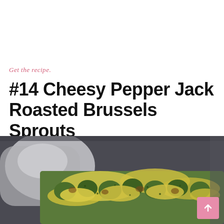Get the recipe.
#14 Cheesy Pepper Jack Roasted Brussels Sprouts
[Figure (photo): A baking dish of cheesy roasted Brussels sprouts covered in melted pepper jack cheese, with a silver spatula/spoon visible on the left side.]